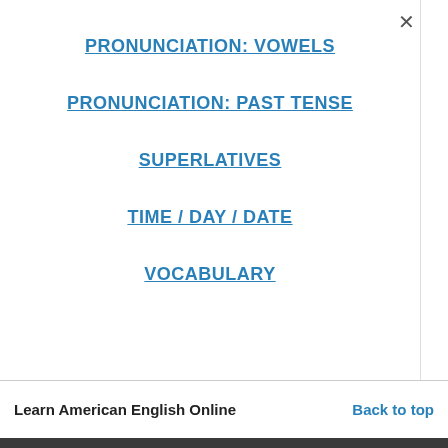PRONUNCIATION: VOWELS
PRONUNCIATION: PAST TENSE
SUPERLATIVES
TIME / DAY / DATE
VOCABULARY
Learn American English Online    Back to top